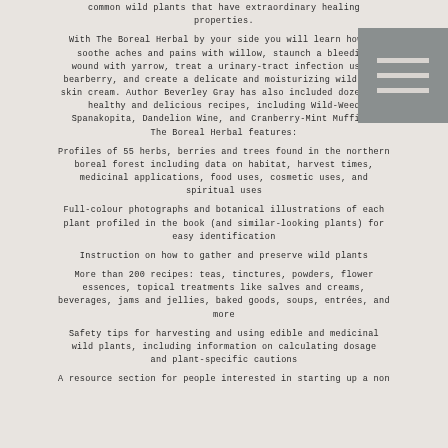common wild plants that have extraordinary healing properties.
With The Boreal Herbal by your side you will learn how to soothe aches and pains with willow, staunch a bleeding wound with yarrow, treat a urinary-tract infection using bearberry, and create a delicate and moisturizing wild-rose skin cream. Author Beverley Gray has also included dozens of healthy and delicious recipes, including Wild-Weed Spanakopita, Dandelion Wine, and Cranberry-Mint Muffins. The Boreal Herbal features:
Profiles of 55 herbs, berries and trees found in the northern boreal forest including data on habitat, harvest times, medicinal applications, food uses, cosmetic uses, and spiritual uses
Full-colour photographs and botanical illustrations of each plant profiled in the book (and similar-looking plants) for easy identification
Instruction on how to gather and preserve wild plants
More than 200 recipes: teas, tinctures, powders, flower essences, topical treatments like salves and creams, beverages, jams and jellies, baked goods, soups, entrées, and more
Safety tips for harvesting and using edible and medicinal wild plants, including information on calculating dosage and plant-specific cautions
A resource section for people interested in starting up a non...